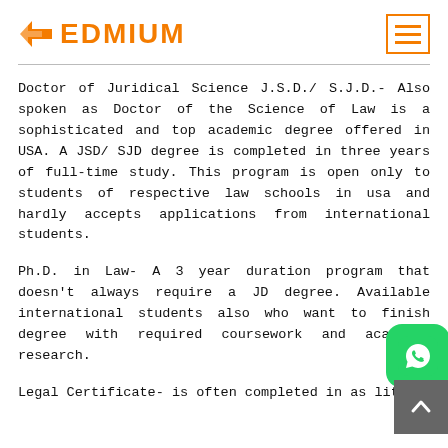EDMIUM
Doctor of Juridical Science J.S.D./ S.J.D.- Also spoken as Doctor of the Science of Law is a sophisticated and top academic degree offered in USA. A JSD/ SJD degree is completed in three years of full-time study. This program is open only to students of respective law schools in usa and hardly accepts applications from international students.
Ph.D. in Law- A 3 year duration program that doesn't always require a JD degree. Available international students also who want to finish degree with required coursework and academic research.
Legal Certificate- is often completed in as little...